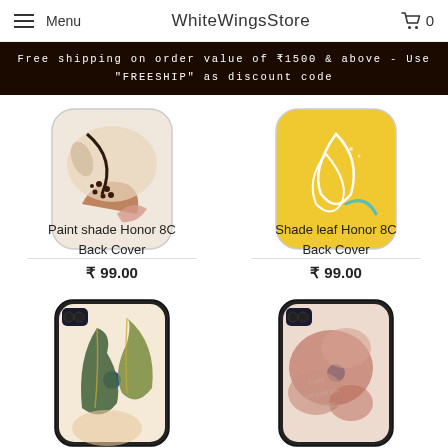Menu | WhiteWingsStore | Cart 0
Free shipping on order value of ₹1500 & above - Use "FREESHIP" as discount code
[Figure (photo): Phone case product image: Paint shade Honor 8C Back Cover with abstract botanical pattern on cream background]
Paint shade Honor 8C Back Cover
₹ 99.00
[Figure (photo): Phone case product image: Shade leaf Honor 8C Back Cover with white leaf outline on yellow background]
Shade leaf Honor 8C Back Cover
₹ 99.00
[Figure (photo): Phone case product image: tropical green leaf pattern on beige background, shown on Honor 8C phone]
[Figure (photo): Phone case product image: muted pink/rose floral paint pattern with script text on Honor 8C phone]